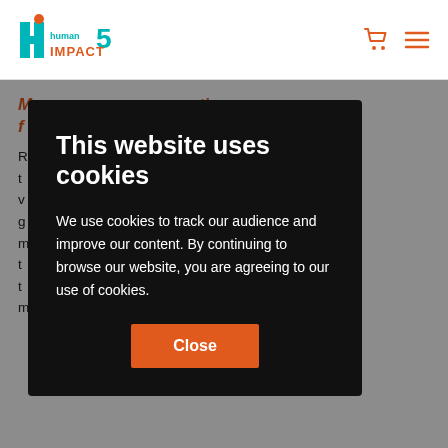[Figure (logo): Hi5 Human Impact logo in teal and orange]
[Figure (infographic): Shopping cart icon and hamburger menu icon in orange]
meetings, ...k.
ell-performing ... ment in the ... ff comes with ... that require ... emselves in a ... xplore various ... ) of inclusive meetings.
This website uses cookies
We use cookies to track our audience and improve our content. By continuing to browse our website, you are agreeing to our use of cookies.
Close